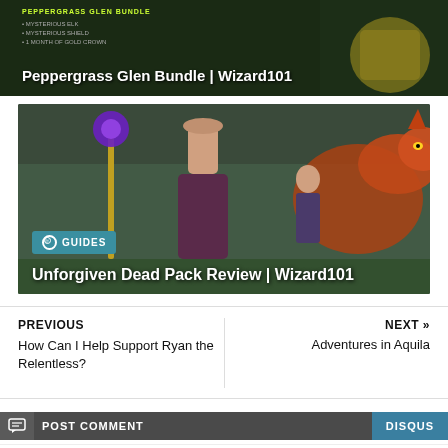[Figure (screenshot): Peppergrass Glen Bundle promotional banner for Wizard101 game. Yellow-green text shows 'PEPPERGRASS GLEN BUNDLE' at top with bullet points listing bundle contents. White bold title reads 'Peppergrass Glen Bundle | Wizard101'. Dark fantasy game background.]
[Figure (screenshot): Unforgiven Dead Pack Review article image for Wizard101. Shows a fantasy game scene with a character holding a staff with a purple gem, wearing a pink hat and ornate outfit, with a dragon and other characters in a green landscape. A teal 'GUIDES' badge is overlaid in bottom-left, and the title 'Unforgiven Dead Pack Review | Wizard101' appears below.]
PREVIOUS
How Can I Help Support Ryan the Relentless?
NEXT »
Adventures in Aquila
POST COMMENT
DISQUS
Comments
Community
Privacy Policy
1
Login